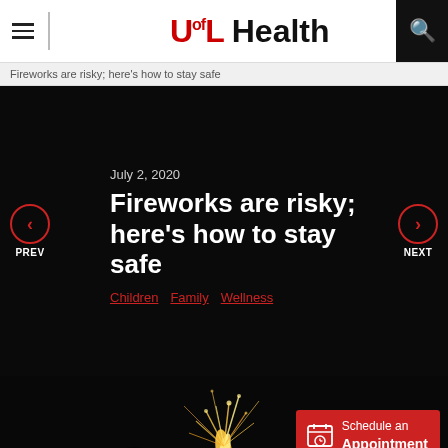UofL Health
Fireworks are risky; here's how to stay safe
July 2, 2020
Fireworks are risky; here's how to stay safe
Children  Family  Wellness
[Figure (photo): Fireworks sparkling at night with people silhouetted in the background]
Schedule an Appointment